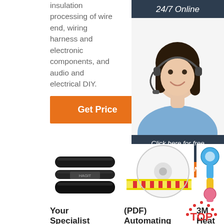insulation processing of wire end, wiring harness and electronic components, and audio and electrical DIY.
Get Price
24/7 Online
[Figure (photo): Customer service woman wearing headset, smiling]
Click here for free chat !
QUOTATION
[Figure (photo): Black heat shrink tubing / wire sleeves]
[Figure (photo): Yellow and red label tape roll]
[Figure (photo): Colored ring terminals / connectors - blue, yellow, pink]
Your Specialist
(PDF) Automating
3M Heat Shrink